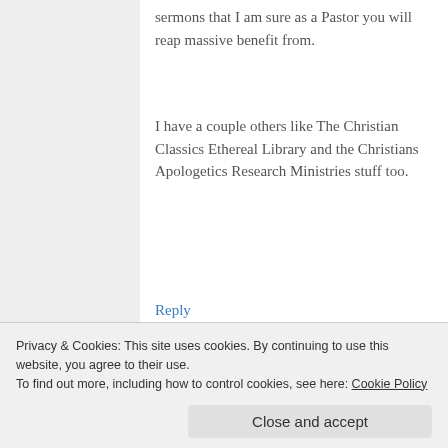sermons that I am sure as a Pastor you will reap massive benefit from.
I have a couple others like The Christian Classics Ethereal Library and the Christians Apologetics Research Ministries stuff too.
Reply
[Figure (photo): Profile photo of Matthew Winters (The Comeback Pastor) — a couple smiling, woman on left and man on right with beard]
Matthew Winters (The Comeback Pastor)
Privacy & Cookies: This site uses cookies. By continuing to use this website, you agree to their use.
To find out more, including how to control cookies, see here: Cookie Policy
Close and accept
compilation of older and more recent preachers.